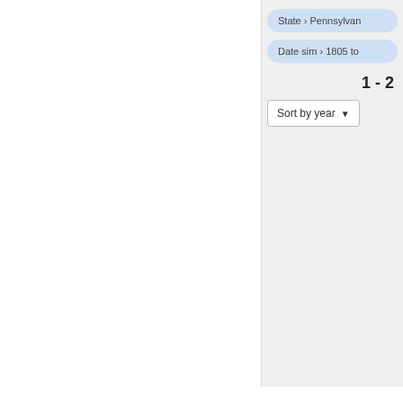State › Pennsylvania
Date sim › 1805 to
1 - 2
Sort by year ▼
1. Pennsylvania 1792 Electo...
Office:
Electoral College
Jurisdiction:
Federal
Year:
1792-11
State:
Pennsylvania
2. Pennsylvania 1816 Electo...